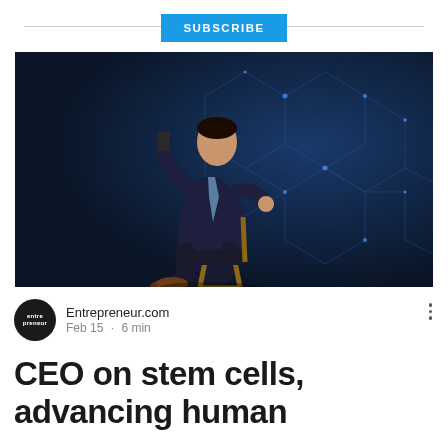SUBSCRIBE
[Figure (photo): A man in a dark suit sitting in a chair on a stage with a dark blue background featuring geometric hexagonal network patterns. He is holding something in one hand and gesturing with the other.]
Entrepreneur.com
Feb 15 · 6 min
CEO on stem cells, advancing human